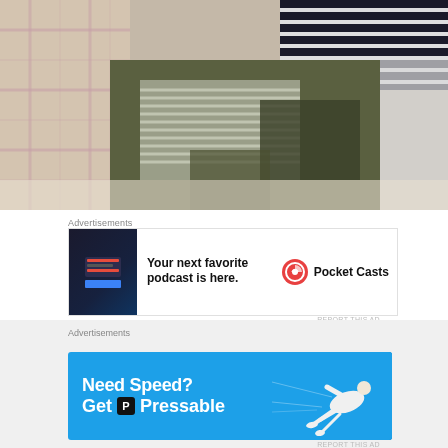[Figure (photo): Close-up photo of folded clothing items including plaid fabric, striped fabric, and olive/dark green textiles piled together]
Advertisements
[Figure (screenshot): Pocket Casts advertisement: 'Your next favorite podcast is here.' with app screenshot on left and Pocket Casts logo on right]
REPORT THIS AD
[Figure (photo): Partial photo strip showing blurred background scene]
Advertisements
[Figure (screenshot): Pressable advertisement: 'Need Speed? Get Pressable' on blue background with illustration of person flying]